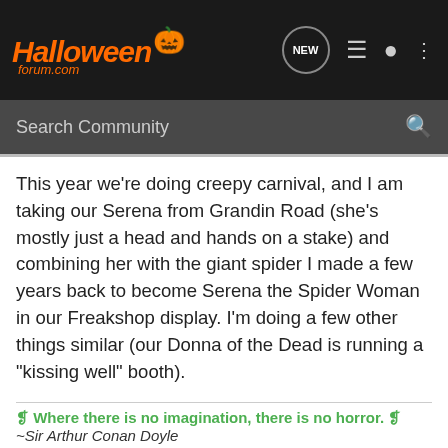[Figure (logo): HalloweenForum.com logo with orange text and pumpkin icon on dark background, with navigation icons]
[Figure (screenshot): Search Community search bar on dark grey background]
This year we're doing creepy carnival, and I am taking our Serena from Grandin Road (she's mostly just a head and hands on a stake) and combining her with the giant spider I made a few years back to become Serena the Spider Woman in our Freakshop display. I'm doing a few other things similar (our Donna of the Dead is running a "kissing well" booth).
❡ Where there is no imagination, there is no horror. ❡
~Sir Arthur Conan Doyle
Reply   Quote
Skelly215 · Registered 🇺🇸
Joined Sep 22, 2004 · 449 Posts